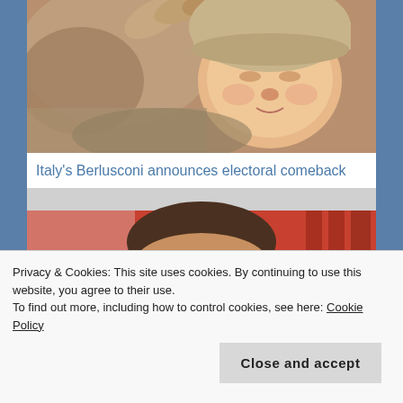[Figure (photo): Close-up photo of a newborn baby being held, wearing a knit cap, with an adult's hands visible]
Italy's Berlusconi announces electoral comeback
[Figure (photo): Photo of Silvio Berlusconi speaking at a political event with red background and pillars]
Privacy & Cookies: This site uses cookies. By continuing to use this website, you agree to their use.
To find out more, including how to control cookies, see here: Cookie Policy
Close and accept